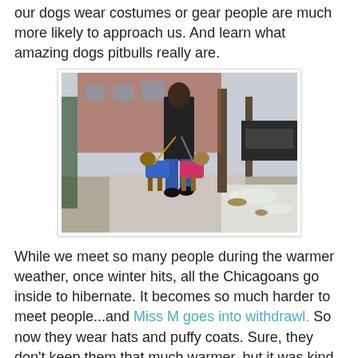our dogs wear costumes or gear people are much more likely to approach us. And learn what amazing dogs pitbulls really are.
[Figure (photo): A person walking two pitbull dogs in colorful coats (blue and pink) on a snowy sidewalk in Chicago, winter scene with bare trees and parked cars.]
While we meet so many people during the warmer weather, once winter hits, all the Chicagoans go inside to hibernate. It becomes so much harder to meet people...and Miss M goes into withdrawl. So now they wear hats and puffy coats. Sure, they don't keep them that much warmer, but it was kind of incredible to see many people disgruntled with the cold Chicago weather openly begin laughing to see Mr B's big furry hat and Miss M's pink puffy coat:
[Figure (photo): Partial photo showing dogs in coats at night with blurred city lights in background.]